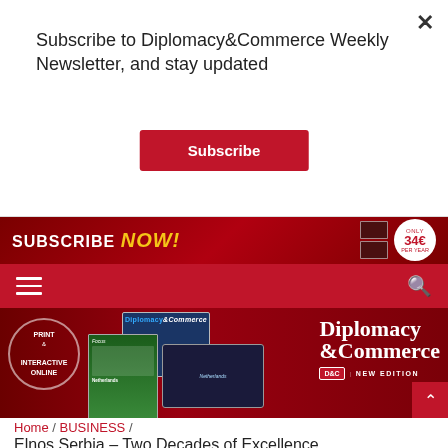Subscribe to Diplomacy&Commerce Weekly Newsletter, and stay updated
Subscribe
[Figure (screenshot): Red subscribe now banner with yellow NOW! text and price badge showing 34€ per year]
[Figure (screenshot): Red navigation bar with hamburger menu icon on left and search icon on right]
[Figure (screenshot): Diplomacy & Commerce magazine banner with Print & Interactive Online circle, magazine covers, and D&C New Edition branding]
Home / BUSINESS / Elnos Serbia – Two Decades of Excellence